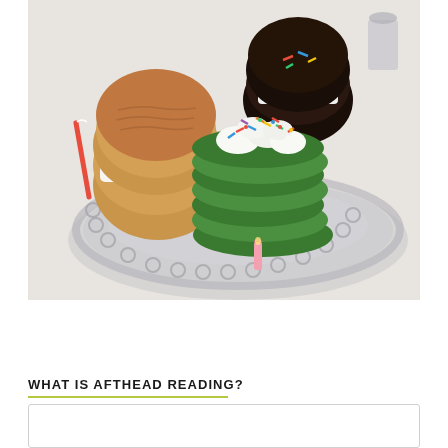[Figure (photo): A glass cake stand/platter holding several baked goods: a golden brown cream-filled sandwich cookie/whoopie pie on the left, dark chocolate sandwich cookies in the back center, and a stack of green cookies with white frosting and colorful sprinkles in the front center. A small pink birthday candle sits on the platter in the foreground. The background shows a white tablecloth setting.]
WHAT IS AFTHEAD READING?